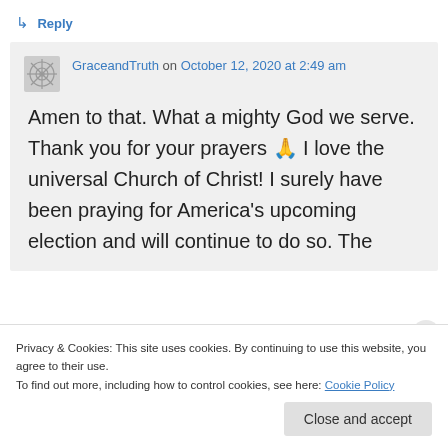↳ Reply
GraceandTruth on October 12, 2020 at 2:49 am
Amen to that. What a mighty God we serve. Thank you for your prayers 🙏 I love the universal Church of Christ! I surely have been praying for America's upcoming election and will continue to do so. The
Privacy & Cookies: This site uses cookies. By continuing to use this website, you agree to their use.
To find out more, including how to control cookies, see here: Cookie Policy
Close and accept